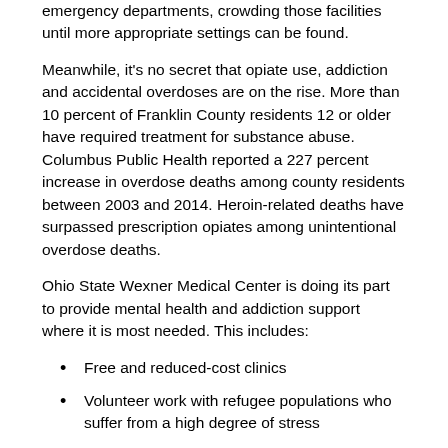emergency departments, crowding those facilities until more appropriate settings can be found.
Meanwhile, it's no secret that opiate use, addiction and accidental overdoses are on the rise. More than 10 percent of Franklin County residents 12 or older have required treatment for substance abuse. Columbus Public Health reported a 227 percent increase in overdose deaths among county residents between 2003 and 2014. Heroin-related deaths have surpassed prescription opiates among unintentional overdose deaths.
Ohio State Wexner Medical Center is doing its part to provide mental health and addiction support where it is most needed. This includes:
Free and reduced-cost clinics
Volunteer work with refugee populations who suffer from a high degree of stress
Mental health screenings and referrals for underserved populations
Research
Concussion testing in the schools